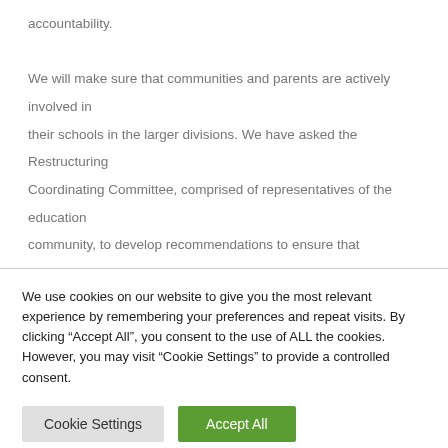accountability.

We will make sure that communities and parents are actively involved in their schools in the larger divisions. We have asked the Restructuring Coordinating Committee, comprised of representatives of the education community, to develop recommendations to ensure that communities and parents are actively involved in their schools in the larger divisions. Past experiences with restructuring into larger school divisions have
We use cookies on our website to give you the most relevant experience by remembering your preferences and repeat visits. By clicking “Accept All”, you consent to the use of ALL the cookies. However, you may visit “Cookie Settings” to provide a controlled consent.